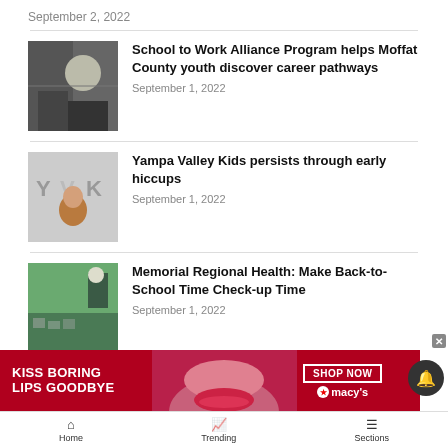September 2, 2022
School to Work Alliance Program helps Moffat County youth discover career pathways
September 1, 2022
Yampa Valley Kids persists through early hiccups
September 1, 2022
Memorial Regional Health: Make Back-to-School Time Check-up Time
September 1, 2022
[Figure (photo): Advertisement banner: KISS BORING LIPS GOODBYE - SHOP NOW - macys]
Home | Trending | Sections